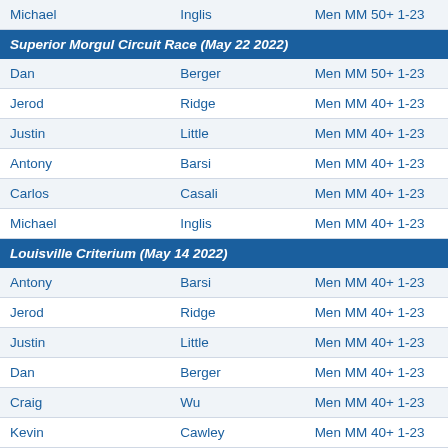| First | Last | Category |
| --- | --- | --- |
| Michael | Inglis | Men MM 50+ 1-23 |
Superior Morgul Circuit Race (May 22 2022)
| First | Last | Category |
| --- | --- | --- |
| Dan | Berger | Men MM 50+ 1-23 |
| Jerod | Ridge | Men MM 40+ 1-23 |
| Justin | Little | Men MM 40+ 1-23 |
| Antony | Barsi | Men MM 40+ 1-23 |
| Carlos | Casali | Men MM 40+ 1-23 |
| Michael | Inglis | Men MM 40+ 1-23 |
Louisville Criterium (May 14 2022)
| First | Last | Category |
| --- | --- | --- |
| Antony | Barsi | Men MM 40+ 1-23 |
| Jerod | Ridge | Men MM 40+ 1-23 |
| Justin | Little | Men MM 40+ 1-23 |
| Dan | Berger | Men MM 40+ 1-23 |
| Craig | Wu | Men MM 40+ 1-23 |
| Kevin | Cawley | Men MM 40+ 1-23 |
| Michael | Inglis | Men MM 40+ 1-23 |
| Michael | Gibson | Men MM 40+ 1-23 |